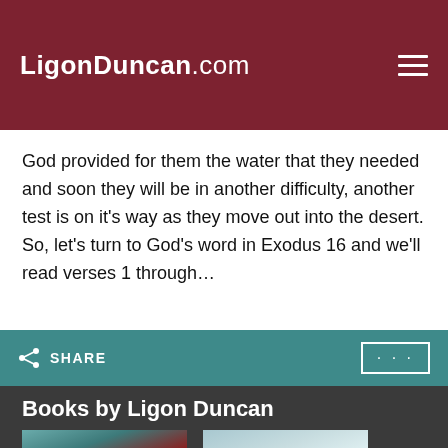LigonDuncan.com
God provided for them the water that they needed and soon they will be in another difficulty, another test is on it's way as they move out into the desert. So, let's turn to God's word in Exodus 16 and we'll read verses 1 through…
SHARE
Books by Ligon Duncan
[Figure (photo): Book cover: Does Grace (partially visible text at bottom), featuring red berries on snowy branches against a teal background]
[Figure (photo): Book cover: Fear Not! with bold blue text at bottom, featuring a close-up photo of hands]